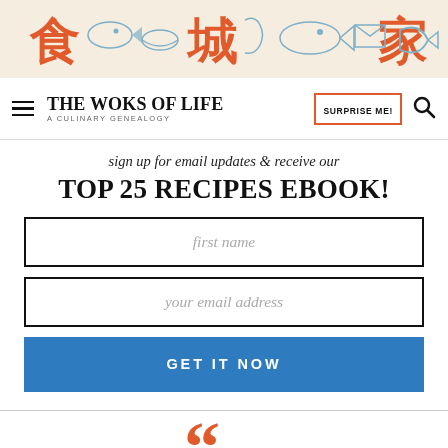[Figure (illustration): Decorative banner with Chinese characters (食, 城, 家 in red/orange) and blue line art food illustrations (fish, seafood, noodles) on a cream background]
THE WOKS OF LIFE — A CULINARY GENEALOGY | SURPRISE ME! [search icon]
sign up for email updates & receive our
TOP 25 RECIPES EBOOK!
first name
your email address
GET IT NOW
[Figure (illustration): Large orange/red opening quotation marks decorative element]